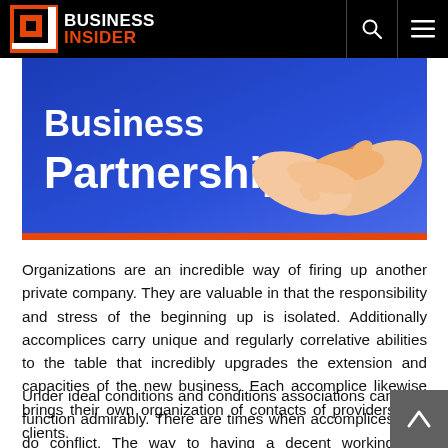BUSINESS INSIDER
[Figure (illustration): Blue banner illustration with white bold text reading 'Business Partnership' and a handshake graphic on the right against a blue background with an orange bottom border.]
Organizations are an incredible way of firing up another private company. They are valuable in that the responsibility and stress of the beginning up is isolated. Additionally accomplices carry unique and regularly correlative abilities to the table that incredibly upgrades the extension and capacities of the new business. Each accomplice likewise brings their own organization of contacts of providers and clients.
Under ideal conditions and conditions associations can function admirably. There are times when accomplices do conflict. The way to having a decent working relationship is in the accomplices that you pick.